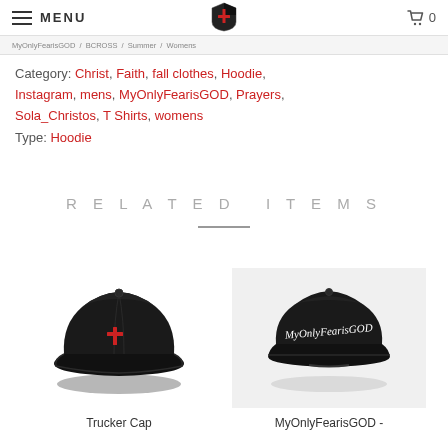MENU [logo] 0
MyOnlyFearisGOD, BCROSS, Summer, Womens
Category: Christ, Faith, fall clothes, Hoodie, Instagram, mens, MyOnlyFearisGOD, Prayers, Sola_Christos, T Shirts, womens
Type: Hoodie
RELATED ITEMS
[Figure (photo): Black trucker cap with red embroidered cross on front]
Trucker Cap
[Figure (photo): Black snapback cap with white script text reading MyOnlyFearisGOD]
MyOnlyFearisGOD -